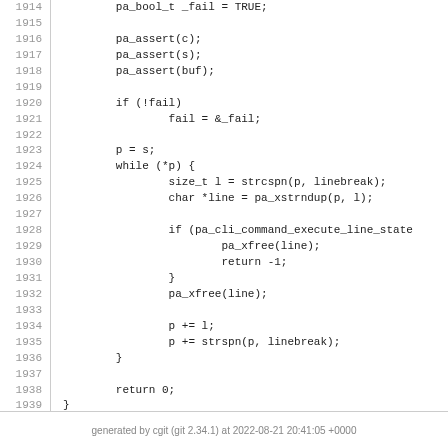Code listing lines 1914-1939 showing C function body with pa_bool_t, pa_assert, pa_cli_command_execute_line_state, pa_xfree, strcspn, strspn calls
generated by cgit (git 2.34.1) at 2022-08-21 20:41:05 +0000